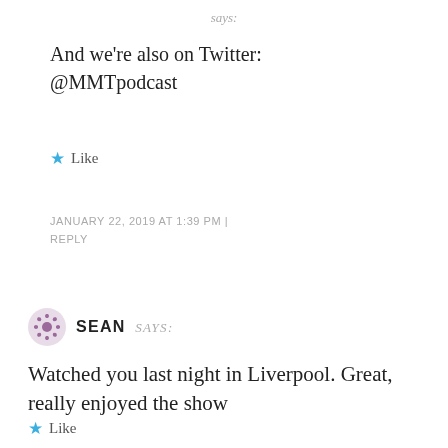says:
And we're also on Twitter: @MMTpodcast
★ Like
JANUARY 22, 2019 AT 1:39 PM | REPLY
SEAN says:
Watched you last night in Liverpool. Great, really enjoyed the show
★ Like